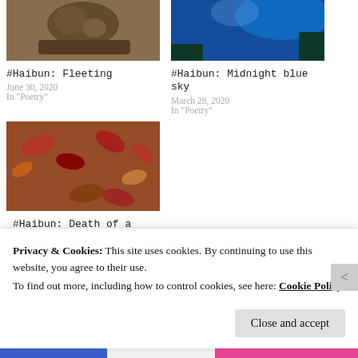[Figure (photo): Thumbnail photo of an animal (possibly a hedgehog or small mammal) on a branch, top-left blog card]
#Haibun: Fleeting
June 30, 2020
In "Poetry"
[Figure (photo): Thumbnail photo of blue night sky with trees, top-right blog card]
#Haibun: Midnight blue sky
March 28, 2020
In "Poetry"
[Figure (photo): Thumbnail photo of autumn leaves on ground, third blog card]
#Haibun: Death of a
Privacy & Cookies: This site uses cookies. By continuing to use this website, you agree to their use.
To find out more, including how to control cookies, see here: Cookie Policy
Close and accept